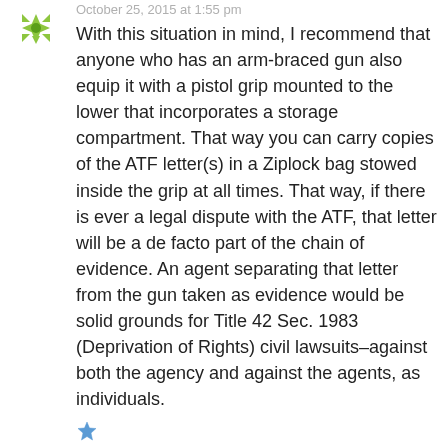[Figure (logo): Green snowflake/star avatar icon]
October 25, 2015 at 1:55 pm
With this situation in mind, I recommend that anyone who has an arm-braced gun also equip it with a pistol grip mounted to the lower that incorporates a storage compartment. That way you can carry copies of the ATF letter(s) in a Ziplock bag stowed inside the grip at all times. That way, if there is ever a legal dispute with the ATF, that letter will be a de facto part of the chain of evidence. An agent separating that letter from the gun taken as evidence would be solid grounds for Title 42 Sec. 1983 (Deprivation of Rights) civil lawsuits–against both the agency and against the agents, as individuals.
[Figure (logo): Small blue like/thumbs icon at bottom]